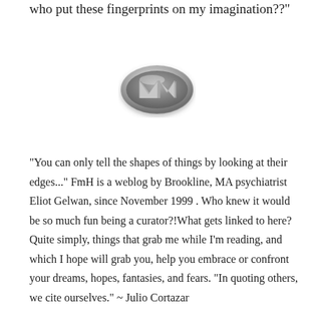who put these fingerprints on my imagination??"
[Figure (logo): Oval metallic silver logo with stylized letter M, rendered in 3D embossed style]
"You can only tell the shapes of things by looking at their edges..." FmH is a weblog by Brookline, MA psychiatrist Eliot Gelwan, since November 1999 . Who knew it would be so much fun being a curator?!What gets linked to here? Quite simply, things that grab me while I'm reading, and which I hope will grab you, help you embrace or confront your dreams, hopes, fantasies, and fears. "In quoting others, we cite ourselves." ~ Julio Cortazar